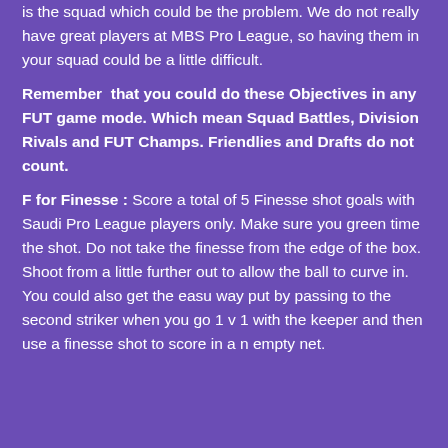is the squad which could be the problem. We do not really have great players at MBS Pro League, so having them in your squad could be a little difficult.
Remember that you could do these Objectives in any FUT game mode. Which mean Squad Battles, Division Rivals and FUT Champs. Friendlies and Drafts do not count.
F for Finesse : Score a total of 5 Finesse shot goals with Saudi Pro League players only. Make sure you green time the shot. Do not take the finesse from the edge of the box. Shoot from a little further out to allow the ball to curve in. You could also get the easu way put by passing to the second striker when you go 1 v 1 with the keeper and then use a finesse shot to score in a n empty net.